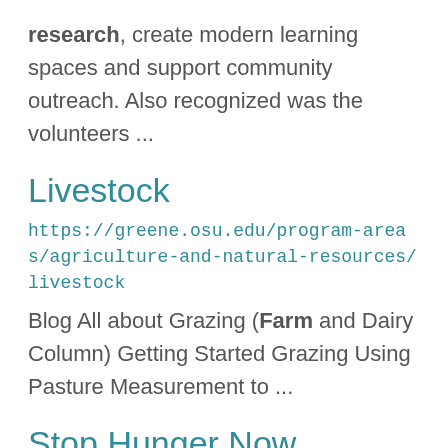research, create modern learning spaces and support community outreach. Also recognized was the volunteers ...
Livestock
https://greene.osu.edu/program-areas/agriculture-and-natural-resources/livestock
Blog All about Grazing (Farm and Dairy Column) Getting Started Grazing Using Pasture Measurement to ...
Stop Hunger Now
https://advancement.cfaes.ohio-state.edu/events/stop-hunger-now
helped during the Stop Hunger Now meal-